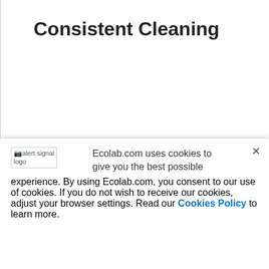Consistent Cleaning
Ecolab.com uses cookies to give you the best possible experience. By using Ecolab.com, you consent to our use of cookies. If you do not wish to receive our cookies, adjust your browser settings. Read our Cookies Policy to learn more.